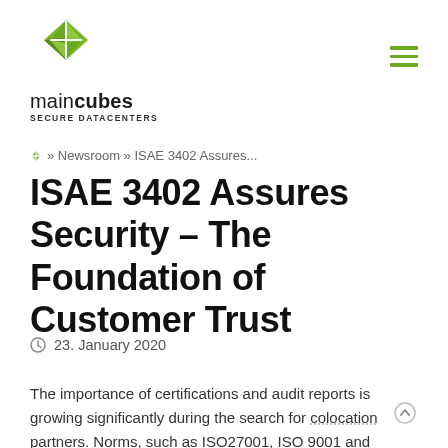[Figure (logo): maincubes Secure Datacenters logo with green diamond/quadrant icon and hamburger menu icon in top right]
» Newsroom » ISAE 3402 Assures...
ISAE 3402 Assures Security – The Foundation of Customer Trust
23. January 2020
The importance of certifications and audit reports is growing significantly during the search for colocation partners. Norms, such as ISO27001, ISO 9001 and